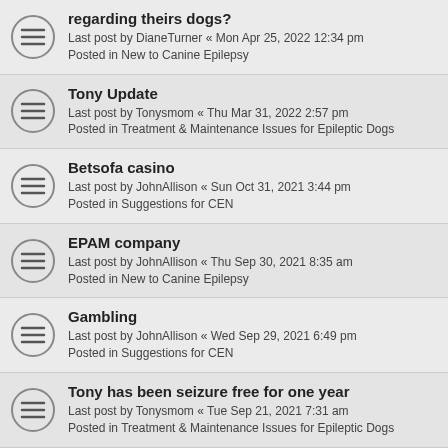regarding theirs dogs?
Last post by DianeTurner « Mon Apr 25, 2022 12:34 pm
Posted in New to Canine Epilepsy
Tony Update
Last post by Tonysmom « Thu Mar 31, 2022 2:57 pm
Posted in Treatment & Maintenance Issues for Epileptic Dogs
Betsofa casino
Last post by JohnAllison « Sun Oct 31, 2021 3:44 pm
Posted in Suggestions for CEN
EPAM company
Last post by JohnAllison « Thu Sep 30, 2021 8:35 am
Posted in New to Canine Epilepsy
Gambling
Last post by JohnAllison « Wed Sep 29, 2021 6:49 pm
Posted in Suggestions for CEN
Tony has been seizure free for one year
Last post by Tonysmom « Tue Sep 21, 2021 7:31 am
Posted in Treatment & Maintenance Issues for Epileptic Dogs